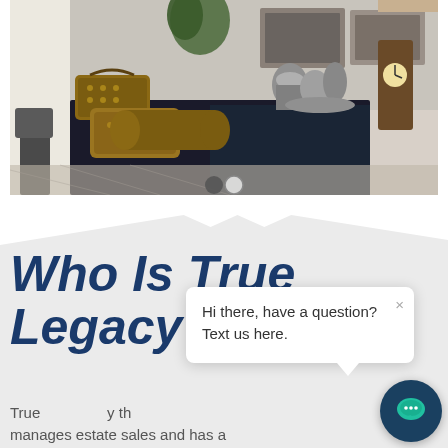[Figure (photo): Interior of an estate sale or consignment shop showing a dark table with Louis Vuitton luggage bags, metallic items, a grandfather clock, and various antique goods displayed on tables with a dark tablecloth. Bright white walls visible in background.]
Who Is True Legacy Homes?
True Legacy Homes is a company that manages estate sales and has a
[Figure (screenshot): Chat popup widget showing message 'Hi there, have a question? Text us here.' with a close button (x), and a teal chat bubble icon button in the bottom right corner on a dark navy circular background.]